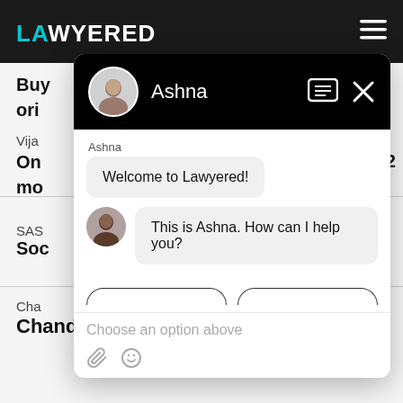[Figure (screenshot): Screenshot of the Lawyered website with a chat widget open. The chat widget shows agent 'Ashna' with messages: 'Welcome to Lawyered!' and 'This is Ashna. How can I help you?'. Background shows partial website content including 'Chandigarh' and other text snippets.]
LAWYERED
Buy
ori
Vija
On
mo
d 2
SAS
Soc
Cha
Chandigarh
Ashna
Welcome to Lawyered!
This is Ashna. How can I help you?
Choose an option above